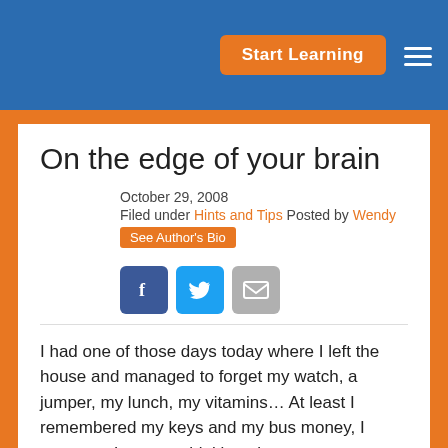Start Learning
On the edge of your brain
October 29, 2008
Filed under Hints and Tips Posted by Wendy
See Author's Bio
[Figure (infographic): Social sharing icons: Facebook (blue), Twitter (cyan), Email (grey)]
I had one of those days today where I left the house and managed to forget my watch, a jumper, my lunch, my vitamins… At least I remembered my keys and my bus money, I suppose.  It got me thinking about memory, though, and something I heard recently about the storage of memories in the brain.
There are still a lot of mysteries associated with the biology of the brain, but it seems thatology...